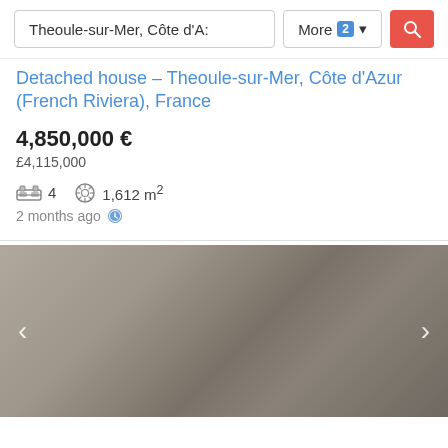Theoule-sur-Mer, Côte d'A:  More 2  [search icon]
Detached house – Theoule-sur-Mer, Côte d'Azur (French Riviera), France
4,850,000 €
£4,115,000
4  1,612 m²
2 months ago
[Figure (photo): Blurred/greyed out property photo with left and right navigation arrows]